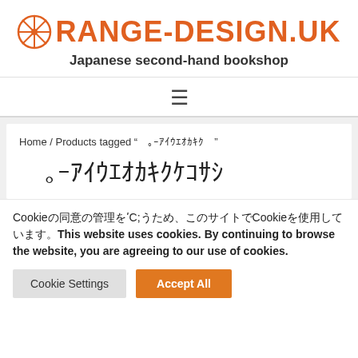ORANGE-DESIGN.UK Japanese second-hand bookshop
☰
Home / Products tagged "「新潞」チュールリップ等天山大学"
「新潞」チュールリップ等天山大学
Cookie同意の管理を行うため、このサイトでCookieを使用しています。This website uses cookies. By continuing to browse the website, you are agreeing to our use of cookies.
Cookie Settings
Accept All